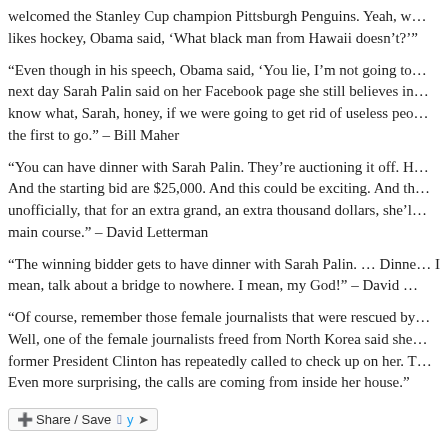welcomed the Stanley Cup champion Pittsburgh Penguins. Yeah, w... likes hockey, Obama said, 'What black man from Hawaii doesn’t?'"
“Even though in his speech, Obama said, ‘You lie, I’m not going to... next day Sarah Palin said on her Facebook page she still believes in... know what, Sarah, honey, if we were going to get rid of useless peo... the first to go.” – Bill Maher
“You can have dinner with Sarah Palin. They’re auctioning it off. H... And the starting bid are $25,000. And this could be exciting. And th... unofficially, that for an extra grand, an extra thousand dollars, she’l... main course.” – David Letterman
“The winning bidder gets to have dinner with Sarah Palin. … Dinne... I mean, talk about a bridge to nowhere. I mean, my God!” – David ...
“Of course, remember those female journalists that were rescued by... Well, one of the female journalists freed from North Korea said she... former President Clinton has repeatedly called to check up on her. T... Even more surprising, the calls are coming from inside her house.”